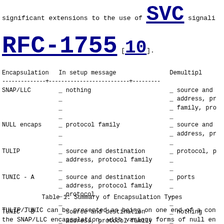significant extensions to the use of SVC signaling defined in RFC-1755 [10].
| Encapsulation | In setup message | Demultipl... |
| --- | --- | --- |
| SNAP/LLC | _ nothing | _ source and ... |
|  | _ | _ address, pr... |
|  | _ | _ family, pro... |
|  | _ | _ |
| NULL encaps | _ protocol family | _ source and ... |
|  | _ | _ address, pr... |
|  | _ | _ |
| TULIP | _ source and destination | _ protocol, p... |
|  | _ address, protocol family | _ |
|  | _ | _ |
| TUNIC - A | _ source and destination | _ ports |
|  | _ address, protocol family | _ |
|  | _ protocol | _ |
|  | _ | _ |
| TUNIC - B | _ source and destination | _ nothing |
|  | _ address, protocol family | _ |
|  | _ protocol, ports | _ |
Table 1:  Summary of Encapsulation Types
TULIP/TUNIC can be presented as being on one end of a con the SNAP/LLC encapsulation, with various forms of null en ...